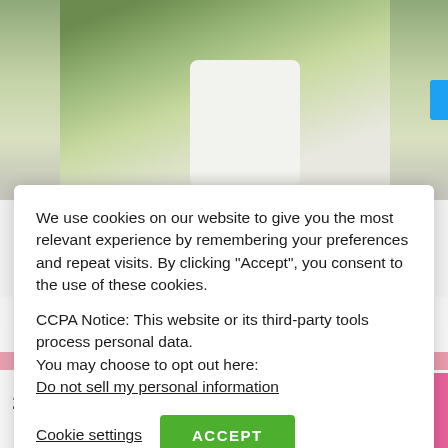[Figure (photo): Kitchen counter with white mugs and green plant, partially visible at top of page]
We use cookies on our website to give you the most relevant experience by remembering your preferences and repeat visits. By clicking “Accept”, you consent to the use of these cookies.
CCPA Notice: This website or its third-party tools process personal data.
You may choose to opt out here:
Do not sell my personal information
Cookie settings
ACCEPT
24.7k
Shares
24.7k